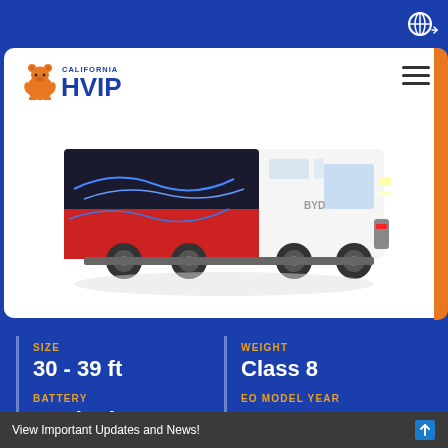[Figure (logo): California HVIP logo with orange bear mascot and blue HVIP text]
[Figure (photo): Electric transit bus with red, blue and white color scheme, side view]
SIZE
30 - 39 ft
WEIGHT
Class 8
BATTERY
352 kWh
EO MODEL YEAR
2020
2021
View Important Updates and News!